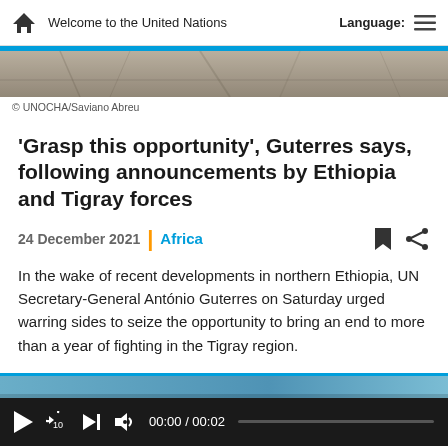Welcome to the United Nations | Language:
[Figure (photo): Partial photo strip showing ground or stone texture, UNOCHA/Saviano Abreu]
© UNOCHA/Saviano Abreu
'Grasp this opportunity', Guterres says, following announcements by Ethiopia and Tigray forces
24 December 2021 | Africa
In the wake of recent developments in northern Ethiopia, UN Secretary-General António Guterres on Saturday urged warring sides to seize the opportunity to bring an end to more than a year of fighting in the Tigray region.
[Figure (screenshot): Video player thumbnail strip (blue/teal partial image)]
00:00 / 00:02